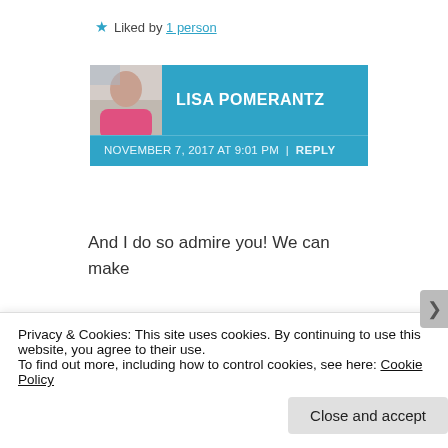★ Liked by 1 person
LISA POMERANTZ
NOVEMBER 7, 2017 AT 9:01 PM | REPLY
And I do so admire you! We can make great changes in this world! It's time! Thank you Mac 😘💕
★ Like
Privacy & Cookies: This site uses cookies. By continuing to use this website, you agree to their use.
To find out more, including how to control cookies, see here: Cookie Policy
Close and accept